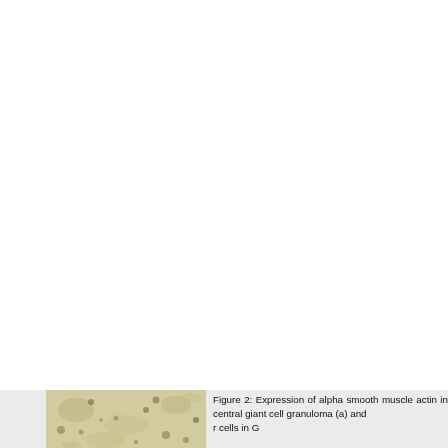[Figure (photo): Histological image showing tissue section, part of Figure 2 showing expression of alpha smooth muscle actin in central giant cell granuloma]
Figure 2: Expression of alpha smooth muscle actin in central giant cell granuloma (a) and ... r cells in G...
This website uses cookies. By continuing to use this website you are giving consent to cookies being used. For information on cookies and how you can disable them visit our
Privacy and Cookie Policy.
AGREE & PROCEED
central gia... 200)
[Figure (photo): Partial histological image at bottom of page, second panel of Figure 2]